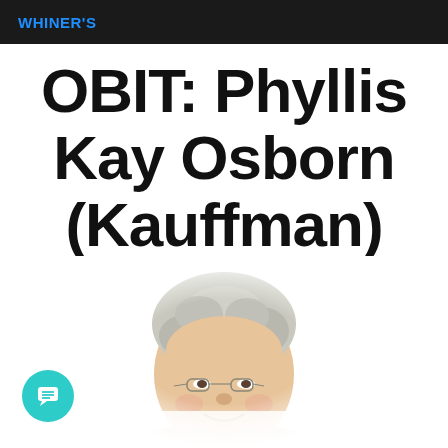WHINER'S
OBIT: Phyllis Kay Osborn (Kauffman)
[Figure (photo): Portrait photo of an elderly woman with short curly gray hair and glasses, smiling, shown from shoulders up, fading into white background at edges.]